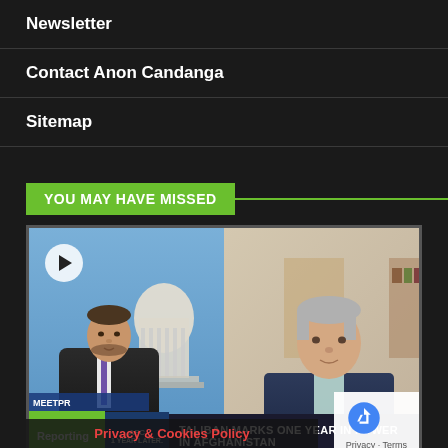Newsletter
Contact Anon Candanga
Sitemap
YOU MAY HAVE MISSED
[Figure (screenshot): TV news screenshot showing two people in a split-screen video call. Left side shows a male news anchor in a suit in front of a US Capitol building backdrop with 'Reporting' green tag and lower-third text reading 'AFC' and '1 YEAR LATER.' and headline 'TALIBAN MARKS ONE YEAR IN POWER IN AFGHANISTAN'. Right side shows a man in a blazer. A play button circle is visible in the top left corner.]
Privacy & Cookies Policy